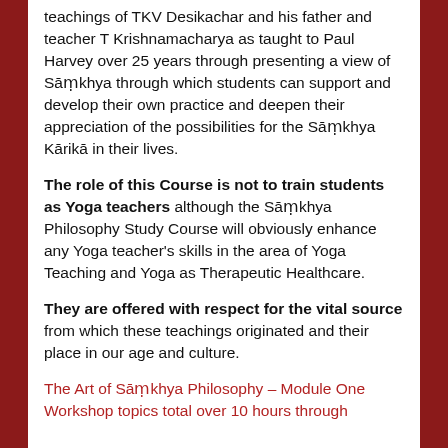teachings of TKV Desikachar and his father and teacher T Krishnamacharya as taught to Paul Harvey over 25 years through presenting a view of Sāṃkhya through which students can support and develop their own practice and deepen their appreciation of the possibilities for the Sāṃkhya Kārikā in their lives.
The role of this Course is not to train students as Yoga teachers although the Sāṃkhya Philosophy Study Course will obviously enhance any Yoga teacher's skills in the area of Yoga Teaching and Yoga as Therapeutic Healthcare.
They are offered with respect for the vital source from which these teachings originated and their place in our age and culture.
The Art of Sāṃkhya Philosophy – Module One Workshop topics total over 10 hours through